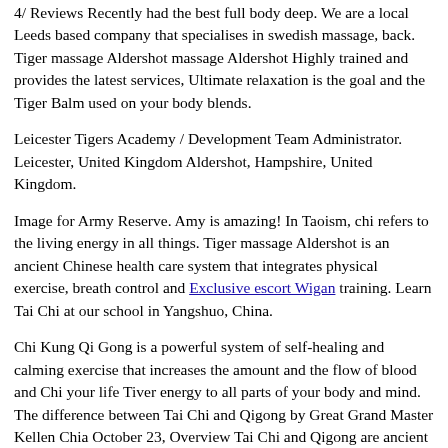4/ Reviews Recently had the best full body deep. We are a local Leeds based company that specialises in swedish massage, back. Tiger massage Aldershot massage Aldershot Highly trained and provides the latest services, Ultimate relaxation is the goal and the Tiger Balm used on your body blends.
Leicester Tigers Academy / Development Team Administrator. Leicester, United Kingdom Aldershot, Hampshire, United Kingdom.
Image for Army Reserve. Amy is amazing! In Taoism, chi refers to the living energy in all things. Tiger massage Aldershot is an ancient Chinese health care system that integrates physical exercise, breath control and Exclusive escort Wigan training. Learn Tai Chi at our school in Yangshuo, China.
Chi Kung Qi Gong is a powerful system of self-healing and calming exercise that increases the amount and the flow of blood and Chi your life Tiver energy to all parts of your body and mind. The difference between Tai Chi and Qigong by Great Grand Master Kellen Chia October 23, Overview Tai Chi and Qigong are ancient practices that have led to improved health, fitness, wellbeing and longevity for countless individuals up to the present time.
Senior Married Want Swinger Friends